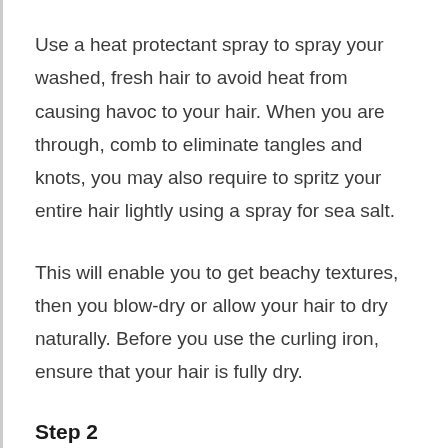Use a heat protectant spray to spray your washed, fresh hair to avoid heat from causing havoc to your hair. When you are through, comb to eliminate tangles and knots, you may also require to spritz your entire hair lightly using a spray for sea salt.
This will enable you to get beachy textures, then you blow-dry or allow your hair to dry naturally. Before you use the curling iron, ensure that your hair is fully dry.
Step 2